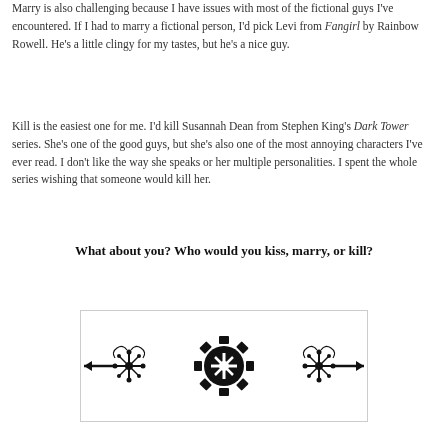Marry is also challenging because I have issues with most of the fictional guys I've encountered. If I had to marry a fictional person, I'd pick Levi from Fangirl by Rainbow Rowell. He's a little clingy for my tastes, but he's a nice guy.
Kill is the easiest one for me. I'd kill Susannah Dean from Stephen King's Dark Tower series. She's one of the good guys, but she's also one of the most annoying characters I've ever read. I don't like the way she speaks or her multiple personalities. I spent the whole series wishing that someone would kill her.
What about you? Who would you kiss, marry, or kill?
[Figure (illustration): Decorative steampunk-style ornamental divider with gears, flourishes, and arrows pointing left and right, rendered in black.]